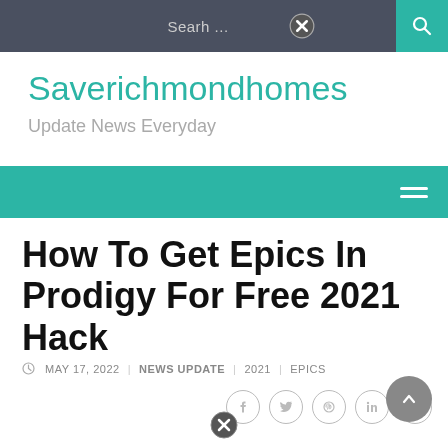Search ...
Saverichmondhomes
Update News Everyday
How To Get Epics In Prodigy For Free 2021 Hack
MAY 17, 2022   NEWS UPDATE   2021   EPICS